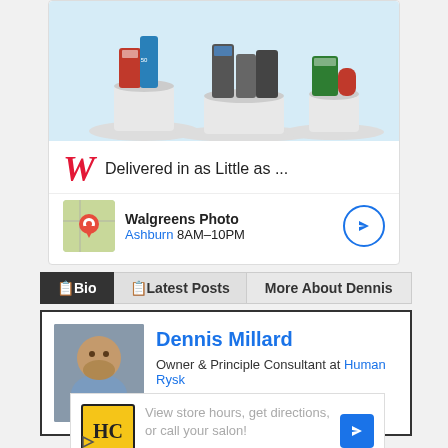[Figure (screenshot): Walgreens advertisement card showing pharmacy products on white pedestals against a light blue background]
Delivered in as Little as ...
Walgreens Photo
Ashburn 8AM–10PM
📋Bio   📋Latest Posts   More About Dennis
[Figure (photo): Profile photo of Dennis Millard, a man with a beard wearing a blue shirt]
Dennis Millard
Owner & Principle Consultant at Human Rysk
View store hours, get directions, or call your salon!
[Figure (logo): HC logo in black circle on yellow square background]